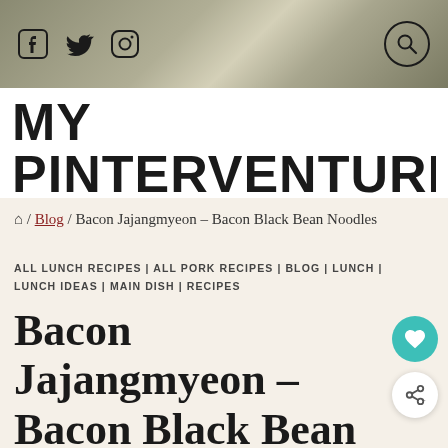Social icons: Facebook, Twitter, Instagram | Search
MY PINTERVENTURE
🏠 / Blog / Bacon Jajangmyeon – Bacon Black Bean Noodles
ALL LUNCH RECIPES | ALL PORK RECIPES | BLOG | LUNCH | LUNCH IDEAS | MAIN DISH | RECIPES
Bacon Jajangmyeon – Bacon Black Bean Noodles